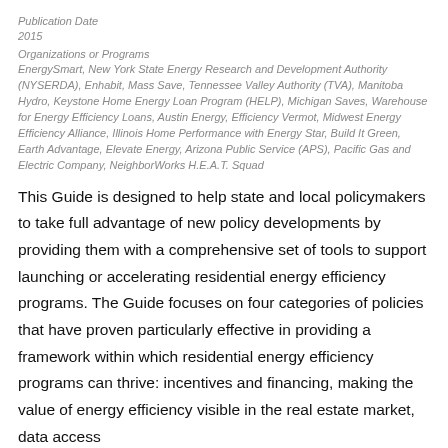Publication Date
2015
Organizations or Programs
EnergySmart, New York State Energy Research and Development Authority (NYSERDA), Enhabit, Mass Save, Tennessee Valley Authority (TVA), Manitoba Hydro, Keystone Home Energy Loan Program (HELP), Michigan Saves, Warehouse for Energy Efficiency Loans, Austin Energy, Efficiency Vermot, Midwest Energy Efficiency Alliance, Illinois Home Performance with Energy Star, Build It Green, Earth Advantage, Elevate Energy, Arizona Public Service (APS), Pacific Gas and Electric Company, NeighborWorks H.E.A.T. Squad
This Guide is designed to help state and local policymakers to take full advantage of new policy developments by providing them with a comprehensive set of tools to support launching or accelerating residential energy efficiency programs. The Guide focuses on four categories of policies that have proven particularly effective in providing a framework within which residential energy efficiency programs can thrive: incentives and financing, making the value of energy efficiency visible in the real estate market, data access